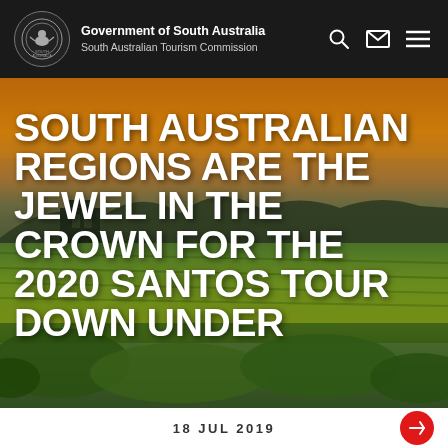Government of South Australia — South Australian Tourism Commission
[Figure (photo): Hero image of a rural South Australian landscape with vineyards/crops in the foreground under a warm golden-orange sky with trees and a building silhouetted in the background]
SOUTH AUSTRALIAN REGIONS ARE THE JEWEL IN THE CROWN FOR THE 2020 SANTOS TOUR DOWN UNDER
18 JUL 2019